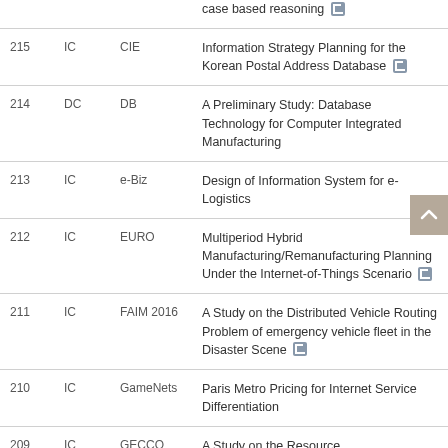| # | Type | Conference | Title |
| --- | --- | --- | --- |
|  |  |  | case based reasoning 🖫 |
| 215 | IC | CIE | Information Strategy Planning for the Korean Postal Address Database 🖫 |
| 214 | DC | DB | A Preliminary Study: Database Technology for Computer Integrated Manufacturing |
| 213 | IC | e-Biz | Design of Information System for e-Logistics |
| 212 | IC | EURO | Multiperiod Hybrid Manufacturing/Remanufacturing Planning Under the Internet-of-Things Scenario 🖫 |
| 211 | IC | FAIM 2016 | A Study on the Distributed Vehicle Routing Problem of emergency vehicle fleet in the Disaster Scene 🖫 |
| 210 | IC | GameNets | Paris Metro Pricing for Internet Service Differentiation |
| 209 | IC | GECCO | A Study on the Resource |